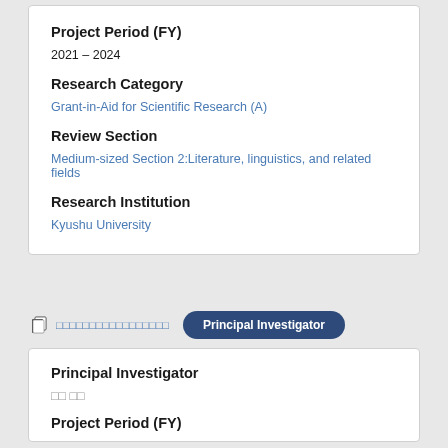Project Period (FY)
2021 – 2024
Research Category
Grant-in-Aid for Scientific Research (A)
Review Section
Medium-sized Section 2:Literature, linguistics, and related fields
Research Institution
Kyushu University
□□ □□
Principal Investigator
Principal Investigator
□□ □□
Project Period (FY)